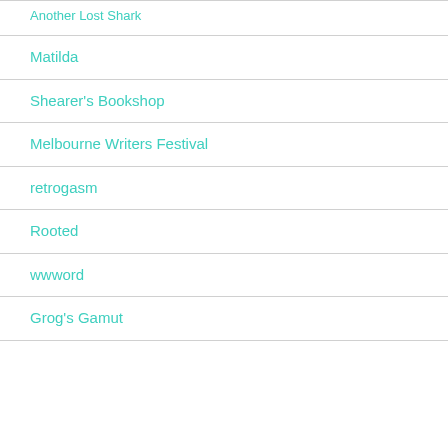Another Lost Shark
Matilda
Shearer's Bookshop
Melbourne Writers Festival
retrogasm
Rooted
wwword
Grog's Gamut